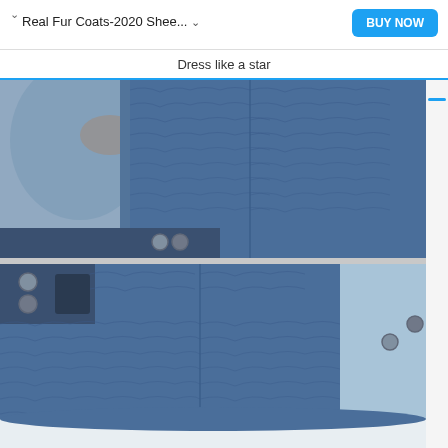Real Fur Coats-2020 Shee...
BUY NOW
Dress like a star
[Figure (photo): Close-up photo of a blue/teal sheepskin fur coat showing the sleeve and body detail with buttons visible at the waist. Two images stacked vertically showing different angles of the fur texture and button closures.]